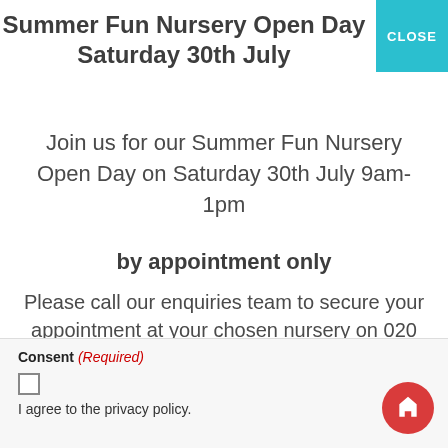Summer Fun Nursery Open Day Saturday 30th July
Join us for our Summer Fun Nursery Open Day on Saturday 30th July 9am-1pm
by appointment only
Please call our enquiries team to secure your appointment at your chosen nursery on 020 3131 8652
Consent (Required)
I agree to the privacy policy.